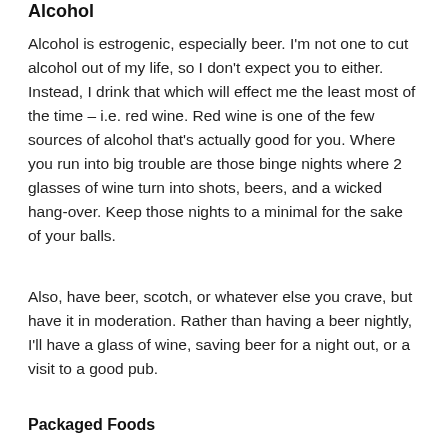Alcohol
Alcohol is estrogenic, especially beer. I'm not one to cut alcohol out of my life, so I don't expect you to either. Instead, I drink that which will effect me the least most of the time – i.e. red wine. Red wine is one of the few sources of alcohol that's actually good for you. Where you run into big trouble are those binge nights where 2 glasses of wine turn into shots, beers, and a wicked hang-over. Keep those nights to a minimal for the sake of your balls.
Also, have beer, scotch, or whatever else you crave, but have it in moderation. Rather than having a beer nightly, I'll have a glass of wine, saving beer for a night out, or a visit to a good pub.
Packaged Foods